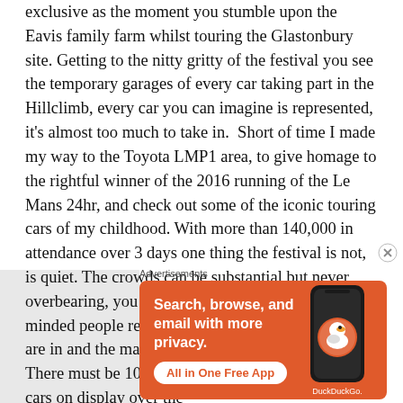exclusive as the moment you stumble upon the Eavis family farm whilst touring the Glastonbury site. Getting to the nitty gritty of the festival you see the temporary garages of every car taking part in the Hillclimb, every car you can imagine is represented, it's almost too much to take in.  Short of time I made my way to the Toyota LMP1 area, to give homage to the rightful winner of the 2016 running of the Le Mans 24hr, and check out some of the iconic touring cars of my childhood. With more than 140,000 in attendance over 3 days one thing the festival is not, is quiet. The crowds can be substantial but never overbearing, you find yourself with groups of like minded people respectful of the environment they are in and the machinery they are bearing witness to. There must be 100's of millions of pounds' worth of cars on display over the
Advertisements
[Figure (infographic): DuckDuckGo advertisement on orange background. Text reads: Search, browse, and email with more privacy. All in One Free App. Shows a smartphone with DuckDuckGo logo.]